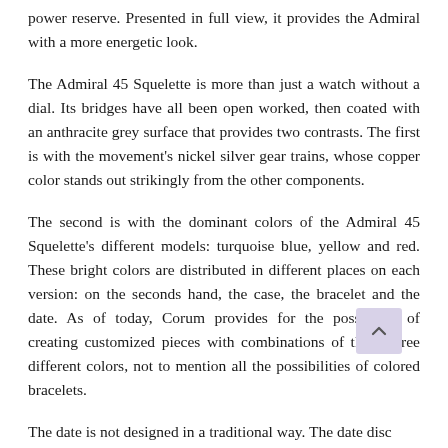power reserve. Presented in full view, it provides the Admiral with a more energetic look.
The Admiral 45 Squelette is more than just a watch without a dial. Its bridges have all been open worked, then coated with an anthracite grey surface that provides two contrasts. The first is with the movement's nickel silver gear trains, whose copper color stands out strikingly from the other components.
The second is with the dominant colors of the Admiral 45 Squelette's different models: turquoise blue, yellow and red. These bright colors are distributed in different places on each version: on the seconds hand, the case, the bracelet and the date. As of today, Corum provides for the possibility of creating customized pieces with combinations of these three different colors, not to mention all the possibilities of colored bracelets.
The date is not designed in a traditional way. The date disc